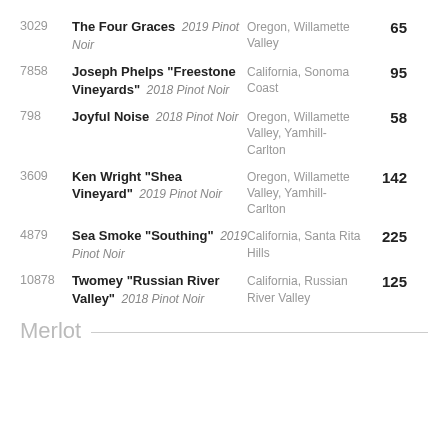3029 | The Four Graces 2019 Pinot Noir | Oregon, Willamette Valley | 65
7858 | Joseph Phelps "Freestone Vineyards" 2018 Pinot Noir | California, Sonoma Coast | 95
798 | Joyful Noise 2018 Pinot Noir | Oregon, Willamette Valley, Yamhill-Carlton | 58
3609 | Ken Wright "Shea Vineyard" 2019 Pinot Noir | Oregon, Willamette Valley, Yamhill-Carlton | 142
4879 | Sea Smoke "Southing" 2019 Pinot Noir | California, Santa Rita Hills | 225
10878 | Twomey "Russian River Valley" 2018 Pinot Noir | California, Russian River Valley | 125
Merlot